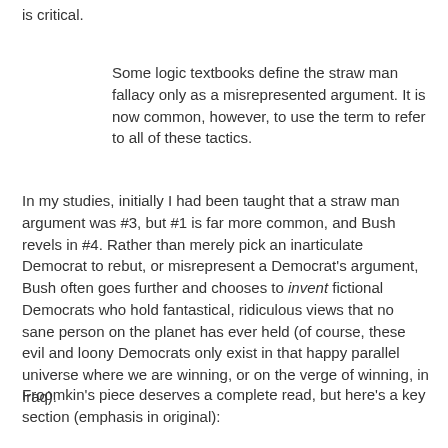is critical.
Some logic textbooks define the straw man fallacy only as a misrepresented argument. It is now common, however, to use the term to refer to all of these tactics.
In my studies, initially I had been taught that a straw man argument was #3, but #1 is far more common, and Bush revels in #4. Rather than merely pick an inarticulate Democrat to rebut, or misrepresent a Democrat's argument, Bush often goes further and chooses to invent fictional Democrats who hold fantastical, ridiculous views that no sane person on the planet has ever held (of course, these evil and loony Democrats only exist in that happy parallel universe where we are winning, or on the verge of winning, in Iraq).
Froomkin's piece deserves a complete read, but here's a key section (emphasis in original):